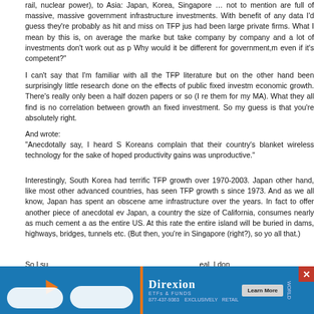rail, nuclear power), to Asia: Japan, Korea, Singapore … not to mention are full of massive, massive government infrastructure investments. With benefit of any data I'd guess they're probably as hit and miss on TFP jus had been large private firms. What I mean by this is, on average the marke but take company by company and a lot of investments don't work out as p Why would it be different for government,m even if it's competent?"
I can't say that I'm familiar with all the TFP literature but on the other hand been surprisingly little research done on the effects of public fixed invest economic growth. There's really only been a half dozen papers or so (I re them for my MA). What they all find is no correlation between growth an fixed investment. So my guess is that you're absolutely right.
And wrote:
"Anecdotally say, I heard S Koreans complain that their country's blanket wireless technology for the sake of hoped productivity gains was unproductive."
Interestingly, South Korea had terrific TFP growth over 1970-2003. Japan other hand, like most other advanced countries, has seen TFP growth s since 1973. And as we all know, Japan has spent an obscene ame infrastructure over the years. In fact to offer another piece of anecdotal ev Japan, a country the size of California, consumes nearly as much cement a as the entire US. At this rate the entire island will be buried in dams, highways, bridges, tunnels etc. (But then, you're in Singapore (right?), so yo all that.)
So I su                                                                                    eal. I don why So                                                                                  ess netw I woul                                                                                   roadband
[Figure (advertisement): Direxion advertisement banner with blue background, orange arrow cursor graphic, white cloud shapes, Direxion branding with Learn More button and close X button]